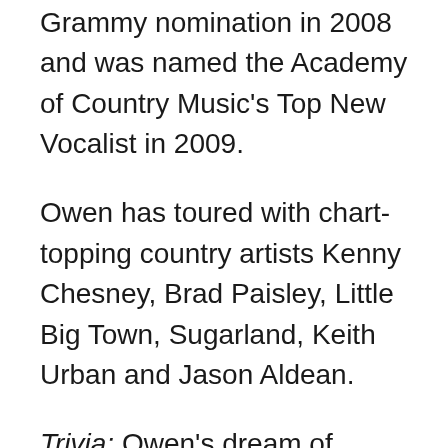Second Ride. He earned a Grammy nomination in 2008 and was named the Academy of Country Music's Top New Vocalist in 2009.
Owen has toured with chart-topping country artists Kenny Chesney, Brad Paisley, Little Big Town, Sugarland, Keith Urban and Jason Aldean.
Trivia: Owen's dream of becoming a professional golfer was sidelined when he was injured in a wakeboarding accident. During his recovery from reconstructive surgery, he borrowed a neighbor's guitar and taught himself how to play. The rest is history.